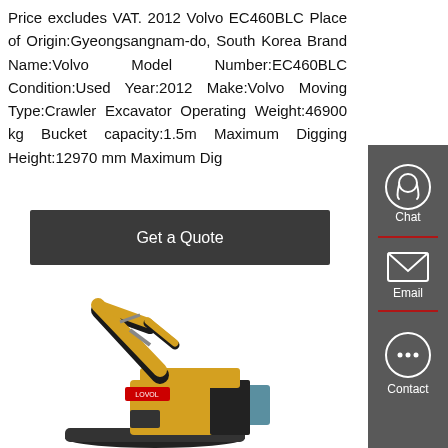Price excludes VAT. 2012 Volvo EC460BLC Place of Origin:Gyeongsangnam-do, South Korea Brand Name:Volvo Model Number:EC460BLC Condition:Used Year:2012 Make:Volvo Moving Type:Crawler Excavator Operating Weight:46900 kg Bucket capacity:1.5m Maximum Digging Height:12970 mm Maximum Dig
[Figure (other): Button: 'Get a Quote' in dark grey/charcoal rectangular button]
[Figure (photo): Photo of a yellow Lovol crawler excavator on white background]
[Figure (infographic): Sidebar with Chat, Email, and Contact icons on dark grey background with red dividers]